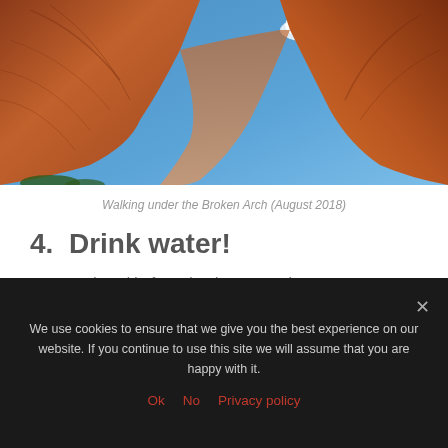[Figure (photo): Photo looking upward under a red sandstone arch, showing the curved rock surface and a blue sky with clouds visible through the opening.]
Walking under the Broken Arch (August 2018)
4.  Drink water!
As I mentioned before, the desert gets hot! At over 4,000 feet above sea level, it's also considered a high desert, so the air can get pretty dry in that
We use cookies to ensure that we give you the best experience on our website. If you continue to use this site we will assume that you are happy with it.
Ok   No   Privacy policy